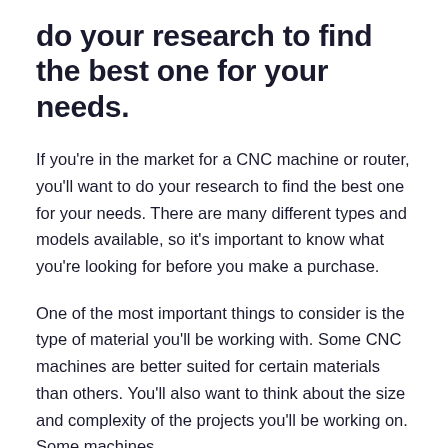do your research to find the best one for your needs.
If you're in the market for a CNC machine or router, you'll want to do your research to find the best one for your needs. There are many different types and models available, so it's important to know what you're looking for before you make a purchase.
One of the most important things to consider is the type of material you'll be working with. Some CNC machines are better suited for certain materials than others. You'll also want to think about the size and complexity of the projects you'll be working on. Some machines